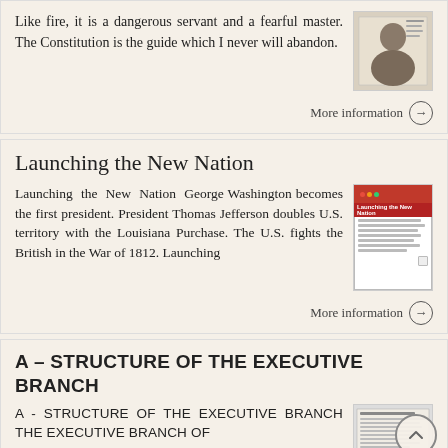Like fire, it is a dangerous servant and a fearful master. The Constitution is the guide which I never will abandon.
More information →
Launching the New Nation
Launching the New Nation George Washington becomes the first president. President Thomas Jefferson doubles U.S. territory with the Louisiana Purchase. The U.S. fights the British in the War of 1812. Launching
More information →
A - STRUCTURE OF THE EXECUTIVE BRANCH
A - STRUCTURE OF THE EXECUTIVE BRANCH The executive branch of